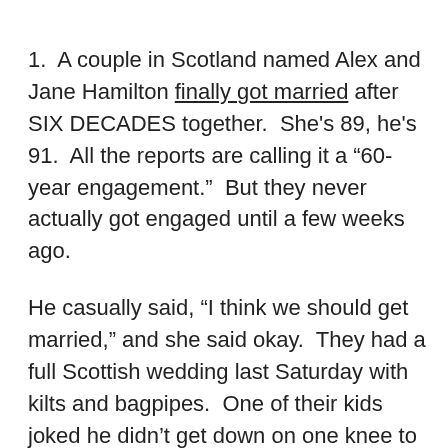1.  A couple in Scotland named Alex and Jane Hamilton finally got married after SIX DECADES together.  She's 89, he's 91.  All the reports are calling it a “60-year engagement.”  But they never actually got engaged until a few weeks ago.
He casually said, “I think we should get married,” and she said okay.  They had a full Scottish wedding last Saturday with kilts and bagpipes.  One of their kids joked he didn’t get down on one knee to propose, because it “would have been